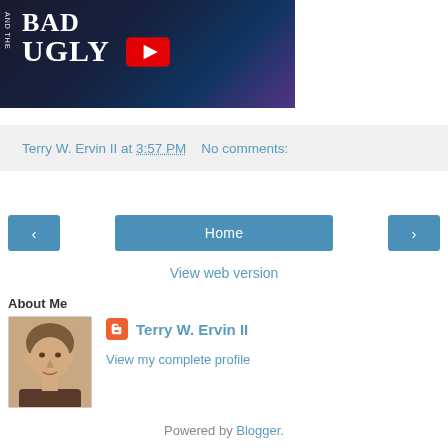[Figure (screenshot): YouTube video thumbnail showing text 'BAD' and 'UGLY' with a red YouTube play button overlay, dark background with musicians]
Terry W. Ervin II at 3:57 PM   No comments:
[Figure (infographic): Navigation bar with left arrow button, Home button, and right arrow button]
View web version
About Me
[Figure (photo): Profile photo of Terry W. Ervin II, a man with short hair]
Terry W. Ervin II
View my complete profile
Powered by Blogger.